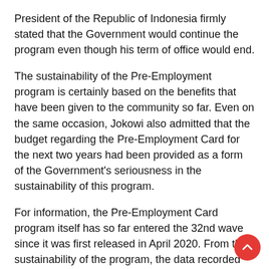President of the Republic of Indonesia firmly stated that the Government would continue the program even though his term of office would end.
The sustainability of the Pre-Employment program is certainly based on the benefits that have been given to the community so far. Even on the same occasion, Jokowi also admitted that the budget regarding the Pre-Employment Card for the next two years had been provided as a form of the Government's seriousness in the sustainability of this program.
For information, the Pre-Employment Card program itself has so far entered the 32nd wave since it was first released in April 2020. From the sustainability of the program, the data recorded that there have been around 12.8 million people accepted.
Furthermore, the Coordinating Minister for Economic Affairs Airlangga Hartarto himself also admitted that from this figure,